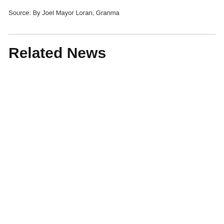Source: By Joel Mayor Loran, Granma
Related News